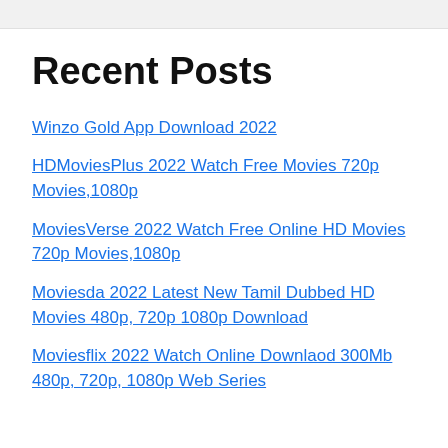Recent Posts
Winzo Gold App Download 2022
HDMoviesPlus 2022 Watch Free Movies 720p Movies,1080p
MoviesVerse 2022 Watch Free Online HD Movies 720p Movies,1080p
Moviesda 2022 Latest New Tamil Dubbed HD Movies 480p, 720p 1080p Download
Moviesflix 2022 Watch Online Downlaod 300Mb 480p, 720p, 1080p Web Series